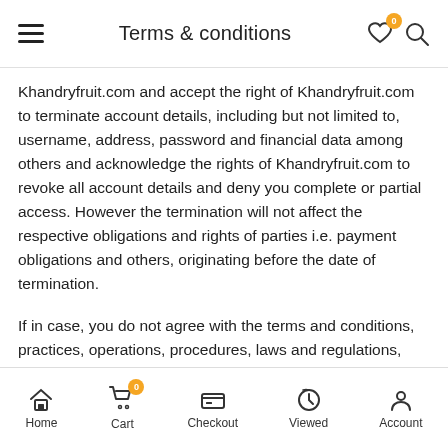Terms & conditions
Khandryfruit.com and accept the right of Khandryfruit.com to terminate account details, including but not limited to, username, address, password and financial data among others and acknowledge the rights of Khandryfruit.com to revoke all account details and deny you complete or partial access. However the termination will not affect the respective obligations and rights of parties i.e. payment obligations and others, originating before the date of termination.
If in case, you do not agree with the terms and conditions, practices, operations, procedures, laws and regulations, then you must discontinue using Khandryfruit.com immediately
Home | Cart | Checkout | Viewed | Account